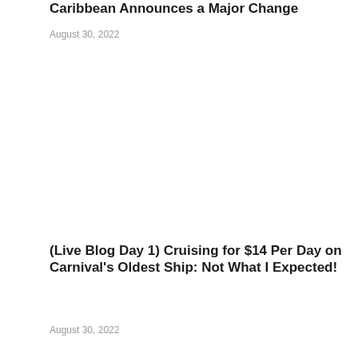Caribbean Announces a Major Change
August 30, 2022
(Live Blog Day 1) Cruising for $14 Per Day on Carnival's Oldest Ship: Not What I Expected!
August 30, 2022